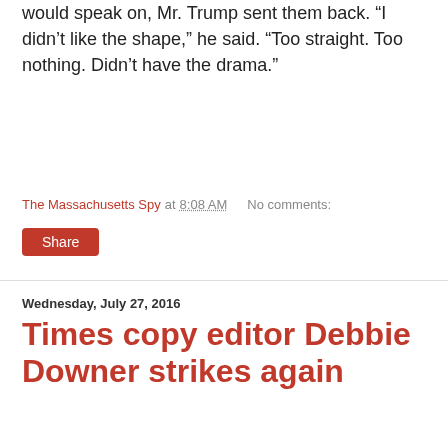would speak on, Mr. Trump sent them back. “I didn’t like the shape,” he said. “Too straight. Too nothing. Didn’t have the drama.”
The Massachusetts Spy at 8:08 AM   No comments:
Share
Wednesday, July 27, 2016
Times copy editor Debbie Downer strikes again
[Figure (illustration): Banner image reading 'Ink-Stained Wretches' with decorative stamps and handwriting in background]
By A.J. Liebling
Meta-Content Generator
The redoubtable Digby has complained on Twitter that the